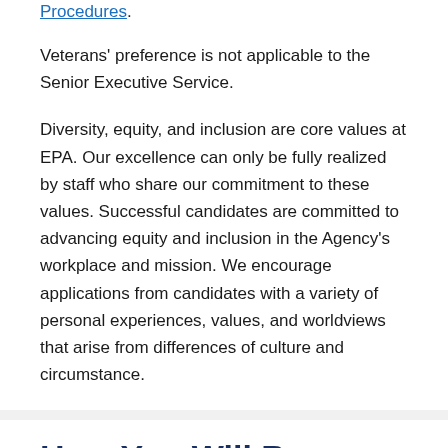Procedures.
Veterans' preference is not applicable to the Senior Executive Service.
Diversity, equity, and inclusion are core values at EPA. Our excellence can only be fully realized by staff who share our commitment to these values. Successful candidates are committed to advancing equity and inclusion in the Agency's workplace and mission. We encourage applications from candidates with a variety of personal experiences, values, and worldviews that arise from differences of culture and circumstance.
How You Will Be Evaluated
You will be evaluated for this job based on how well you